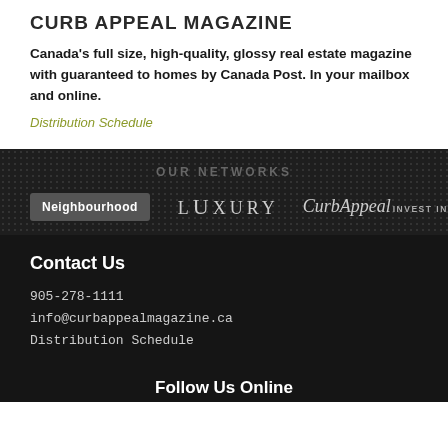CURB APPEAL MAGAZINE
Canada’s full size, high-quality, glossy real estate magazine with guaranteed to homes by Canada Post. In your mailbox and online.
Distribution Schedule
OUR NETWORKS
[Figure (logo): Three publication logos: Neighbourhood (grey badge), LUXURY (serif spaced caps), CurbAppeal INVEST IN STYLE]
Contact Us
905-278-1111
info@curbappealmagazine.ca
Distribution Schedule
Follow Us Online